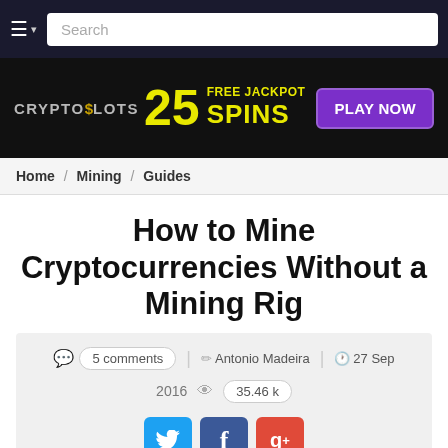Search
[Figure (infographic): CryptoSlots casino advertisement banner: CRYPTOSLOTS 25 FREE JACKPOT SPINS with PLAY NOW button]
Home / Mining / Guides
How to Mine Cryptocurrencies Without a Mining Rig
5 comments | Antonio Madeira | 27 Sep 2016 | 35.46 k views
[Figure (infographic): Social sharing buttons: Twitter, Facebook, Google+]